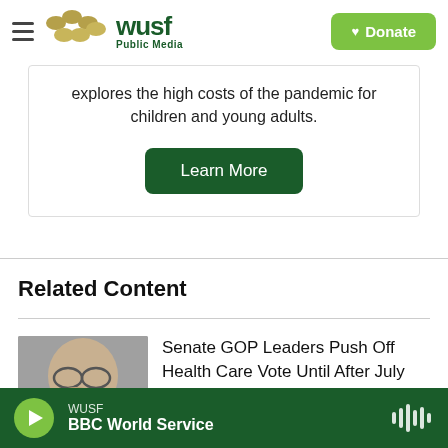WUSF Public Media
explores the high costs of the pandemic for children and young adults.
Learn More
Related Content
Senate GOP Leaders Push Off Health Care Vote Until After July 4th
WUSF BBC World Service